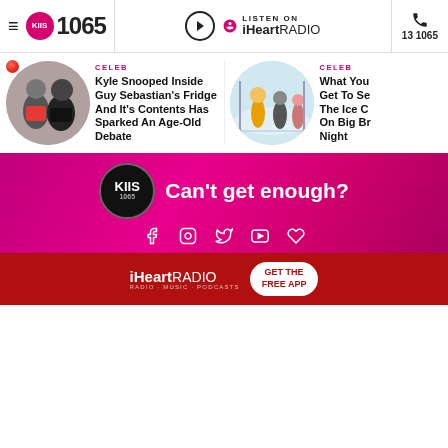KIIS 1065 | LISTEN ON iHeartRADIO | 13 1065
[Figure (photo): Circular thumbnail photo of Kyle and Guy Sebastian]
CELEB
Kyle Snooped Inside Guy Sebastian's Fridge And It's Contents Has Sparked An Age-Old Debate
[Figure (photo): Circular thumbnail photo of people skating at an ice rink]
CELEB
What You Get To Se... The Ice C... On Big Br... Night
[Figure (logo): KIIS 1065 footer banner with Can't get enough? text and social media icons (Facebook, Instagram, Twitter, YouTube, iHeart)]
[Figure (screenshot): iHeartRADIO advertisement banner with GET THE FREE APP button]